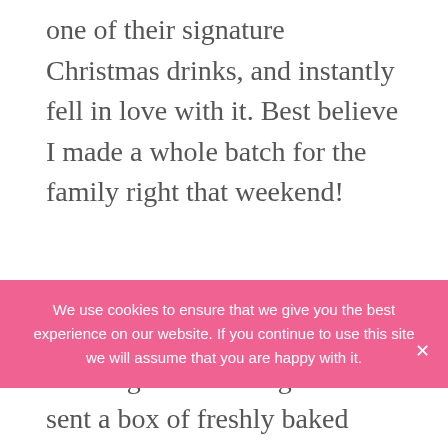one of their signature Christmas drinks, and instantly fell in love with it. Best believe I made a whole batch for the family right that weekend!
I also found they make amazing homemade gifts too! I sent a box of freshly baked scones to my sister and she said they were still good when she got home.
We use cookies to ensure that we give you the best experience on our website. If you continue to use this site we will assume that you are happy with it.